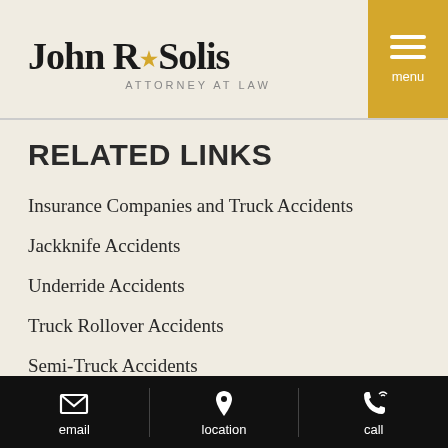John R. Solis Attorney at Law
RELATED LINKS
Insurance Companies and Truck Accidents
Jackknife Accidents
Underride Accidents
Truck Rollover Accidents
Semi-Truck Accidents
Investigating Trucking Companies
OFFICE LOCATION
email | location | call